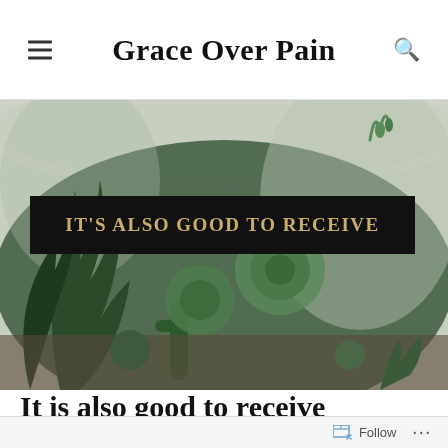Grace Over Pain
[Figure (photo): Close-up photo of various succulent plants including cacti, aloe vera, and other succulents inside a glass terrarium, viewed from the side. The plants are densely packed with green and dark green foliage against a light background.]
IT'S ALSO GOOD TO RECEIVE
It is also good to receive
Follow  ...